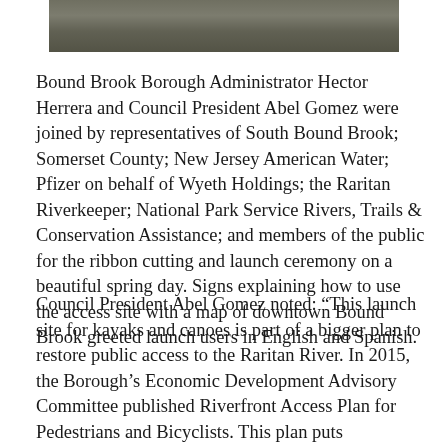[Figure (photo): Top portion of an outdoor photo showing people at a ribbon cutting and launch ceremony, cropped at the top of the page.]
Bound Brook Borough Administrator Hector Herrera and Council President Abel Gomez were joined by representatives of South Bound Brook; Somerset County; New Jersey American Water; Pfizer on behalf of Wyeth Holdings; the Raritan Riverkeeper; National Park Service Rivers, Trails & Conservation Assistance; and members of the public for the ribbon cutting and launch ceremony on a beautiful spring day. Signs explaining how to use the access site with a map of downtown Bound Brook greeted launch users in English and Spanish.
Council President Abel Gomez noted: “This launch site for kayaks and canoes is part of a bigger plan to restore public access to the Raritan River. In 2015, the Borough’s Economic Development Advisory Committee published Riverfront Access Plan for Pedestrians and Bicyclists. This plan puts